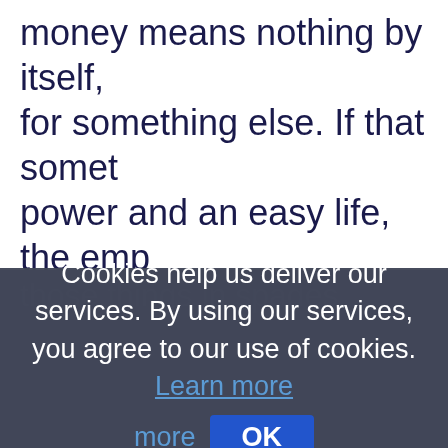money means nothing by itself, for something else. If that somet power and an easy life, the emp
those things in spades
Cookies help us deliver our services. By using our services, you agree to our use of cookies. Learn more
[Figure (screenshot): OK button - blue rectangular button with white bold text 'OK']